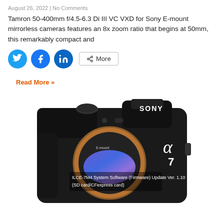August 26, 2022 | No Comments
Tamron 50-400mm f/4.5-6.3 Di III VC VXD for Sony E-mount mirrorless cameras features an 8x zoom ratio that begins at 50mm, this remarkably compact and
[Figure (other): Social sharing buttons: Twitter, Facebook, LinkedIn, and More]
Read More »
[Figure (photo): Sony Alpha 7 (a7) mirrorless camera body with copper-colored E-mount ring, sensor visible, SONY branding on top. Overlay text: ILCE-7M4 System Software (Firmware) Update Ver. 1.10 (SD card/CFexpress card)]